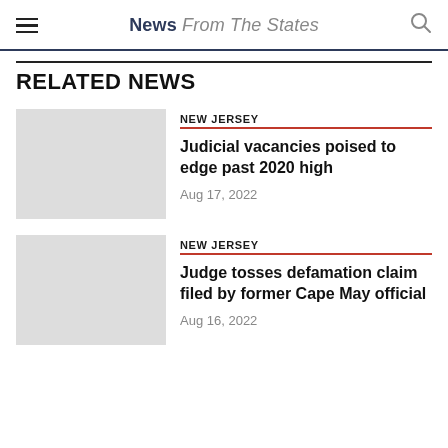News From The States
RELATED NEWS
[Figure (photo): Placeholder image thumbnail for first news article]
NEW JERSEY
Judicial vacancies poised to edge past 2020 high
Aug 17, 2022
[Figure (photo): Placeholder image thumbnail for second news article]
NEW JERSEY
Judge tosses defamation claim filed by former Cape May official
Aug 16, 2022